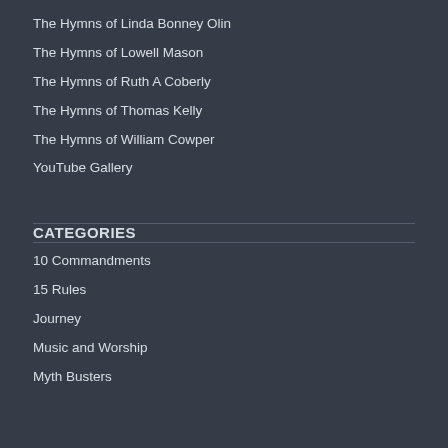The Hymns of Linda Bonney Olin
The Hymns of Lowell Mason
The Hymns of Ruth A Coberly
The Hymns of Thomas Kelly
The Hymns of William Cowper
YouTube Gallery
CATEGORIES
10 Commandments
15 Rules
Journey
Music and Worship
Myth Busters